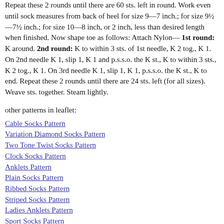Repeat these 2 rounds until there are 60 sts. left in round. Work even until sock measures from back of heel for size 9—7 inch.; for size 9½—7½ inch.; for size 10—8 inch, or 2 inch, less than desired length when finished. Now shape toe as follows: Attach Nylon— 1st round: K around. 2nd round: K to within 3 sts. of 1st needle, K 2 tog., K 1. On 2nd needle K 1, slip 1, K 1 and p.s.s.o. the K st., K to within 3 sts., K 2 tog., K 1. On 3rd needle K 1, slip 1, K 1, p.s.s.o. the K st., K to end. Repeat these 2 rounds until there are 24 sts. left (for all sizes). Weave sts. together. Steam lightly.
other patterns in leaflet:
Cable Socks Pattern
Variation Diamond Socks Pattern
Two Tone Twist Socks Pattern
Clock Socks Pattern
Anklets Pattern
Plain Socks Pattern
Ribbed Socks Pattern
Striped Socks Pattern
Ladies Anklets Pattern
Sport Socks Pattern
Man's Ribbed Socks Pattern
Herringbone Socks Pattern
Fancy Ribbed Socks Pattern